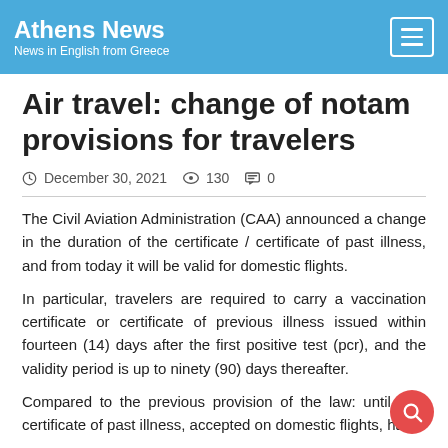Athens News
News in English from Greece
Air travel: change of notam provisions for travelers
December 30, 2021  130  0
The Civil Aviation Administration (CAA) announced a change in the duration of the certificate / certificate of past illness, and from today it will be valid for domestic flights.
In particular, travelers are required to carry a vaccination certificate or certificate of previous illness issued within fourteen (14) days after the first positive test (pcr), and the validity period is up to ninety (90) days thereafter.
Compared to the previous provision of the law: until now certificate of past illness, accepted on domestic flights, ha...